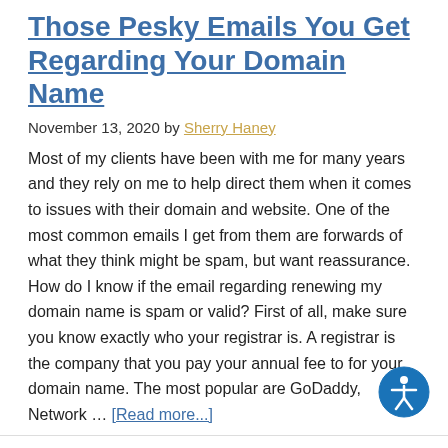Those Pesky Emails You Get Regarding Your Domain Name
November 13, 2020 by Sherry Haney
Most of my clients have been with me for many years and they rely on me to help direct them when it comes to issues with their domain and website. One of the most common emails I get from them are forwards of what they think might be spam, but want reassurance. How do I know if the email regarding renewing my domain name is spam or valid? First of all, make sure you know exactly who your registrar is. A registrar is the company that you pay your annual fee to for your domain name. The most popular are GoDaddy, Network … [Read more...]